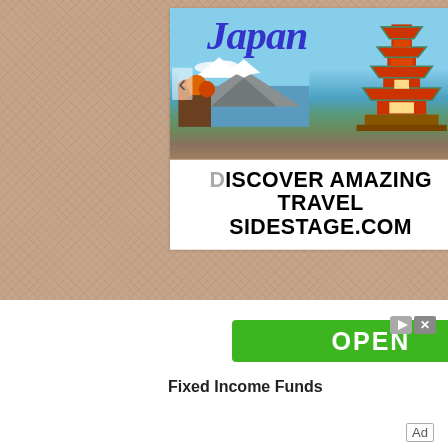[Figure (screenshot): Travel advertisement showing Japan with Mt. Fuji and a pagoda, text reading 'Japan' in blue italic, 'DISCOVER AMAZING TRAVEL' and 'SIDESTAGE.COM']
OPEN
Fixed Income Funds
Ad